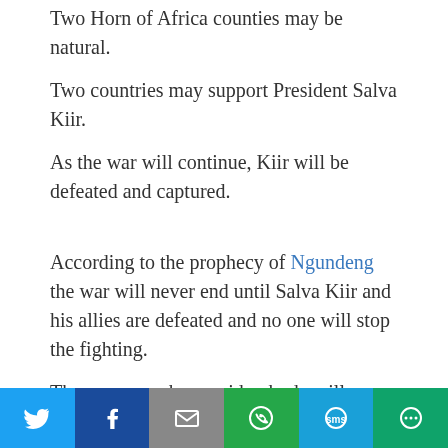Two Horn of Africa counties may be natural.
Two countries may support President Salva Kiir.
As the war will continue, Kiir will be defeated and captured.
According to the prophecy of Ngundeng the war will never end until Salva Kiir and his allies are defeated and no one will stop the fighting.
The same prophecy said nobody will mediate the two parties until Dr Riek Machar-Teny defeats Salva Kiir by force.
If the world imposes the peace agreement again without balancing the forces of the rivals there will be